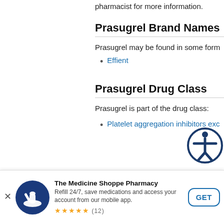This medication may be prescribed by a pharmacist for more information.
Prasugrel Brand Names
Prasugrel may be found in some form
Effient
Prasugrel Drug Class
Prasugrel is part of the drug class:
Platelet aggregation inhibitors exc
The Medicine Shoppe Pharmacy
Refill 24/7, save medications and access your account from our mobile app.
★★★★★ (12)